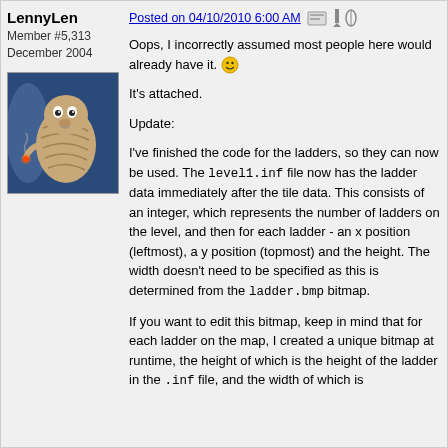LennyLen
Member #5,313
December 2004
[Figure (illustration): Avatar image of a cartoon creature character against a blue background]
Posted on 04/10/2010 6:00 AM
Oops, I incorrectly assumed most people here would already have it. :)
It's attached.
Update:
I've finished the code for the ladders, so they can now be used. The level1.inf file now has the ladder data immediately after the tile data. This consists of an integer, which represents the number of ladders on the level, and then for each ladder - an x position (leftmost), a y position (topmost) and the height. The width doesn't need to be specified as this is determined from the ladder.bmp bitmap.
If you want to edit this bitmap, keep in mind that for each ladder on the map, I created a unique bitmap at runtime, the height of which is the height of the ladder in the .inf file, and the width of which is